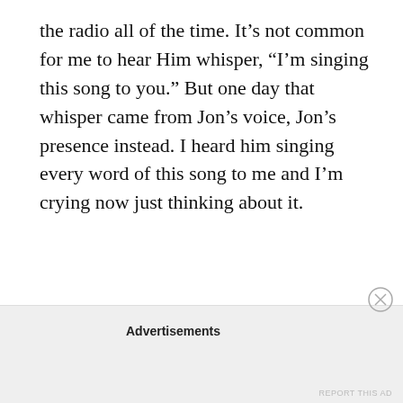the radio all of the time. It’s not common for me to hear Him whisper, “I’m singing this song to you.” But one day that whisper came from Jon’s voice, Jon’s presence instead. I heard him singing every word of this song to me and I’m crying now just thinking about it.
Advertisements